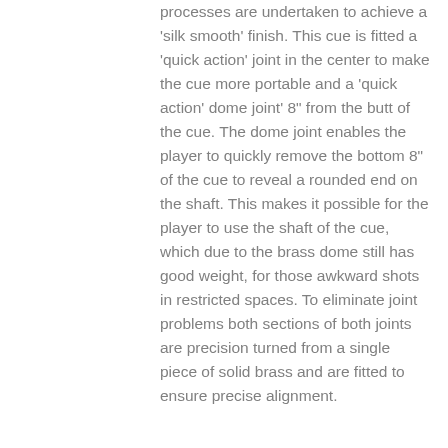processes are undertaken to achieve a 'silk smooth' finish. This cue is fitted a 'quick action' joint in the center to make the cue more portable and a 'quick action' dome joint' 8" from the butt of the cue. The dome joint enables the player to quickly remove the bottom 8" of the cue to reveal a rounded end on the shaft. This makes it possible for the player to use the shaft of the cue, which due to the brass dome still has good weight, for those awkward shots in restricted spaces. To eliminate joint problems both sections of both joints are precision turned from a single piece of solid brass and are fitted to ensure precise alignment.